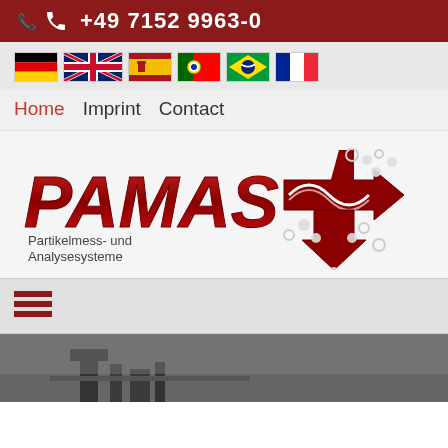+49 7152 9963-0
[Figure (illustration): Row of six country flag icons: Germany, UK/USA, Spain, Portugal, Brazil, France]
Home   Imprint   Contact
[Figure (logo): PAMAS logo with red arrow graphic and text 'Partikelmess- und Analysesysteme']
[Figure (illustration): Hamburger menu icon (three red horizontal lines)]
[Figure (photo): Grayscale photo of industrial equipment or machinery at the bottom of the page]